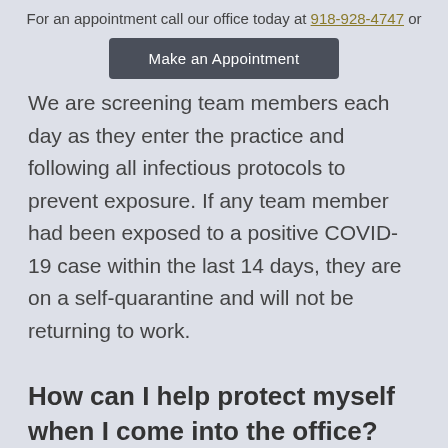For an appointment call our office today at 918-928-4747 or
[Figure (other): Dark grey button labeled 'Make an Appointment']
We are screening team members each day as they enter the practice and following all infectious protocols to prevent exposure. If any team member had been exposed to a positive COVID-19 case within the last 14 days, they are on a self-quarantine and will not be returning to work.
How can I help protect myself when I come into the office? Should I wear protective equipment like